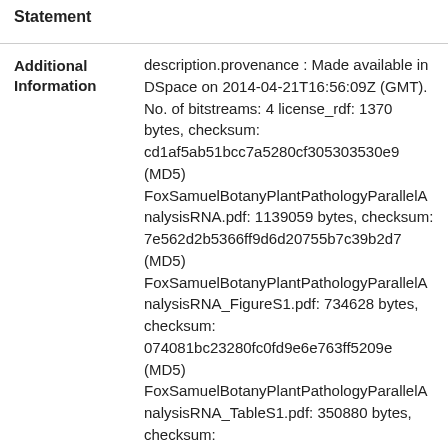| Statement | (link) |
| Additional Information | description.provenance : Made available in DSpace on 2014-04-21T16:56:09Z (GMT). No. of bitstreams: 4 license_rdf: 1370 bytes, checksum: cd1af5ab51bcc7a5280cf305303530e9 (MD5) FoxSamuelBotanyPlantPathologyParallelAnalysisRNA.pdf: 1139059 bytes, checksum: 7e562d2b5366ff9d6d20755b7c39b2d7 (MD5) FoxSamuelBotanyPlantPathologyParallelAnalysisRNA_FigureS1.pdf: 734628 bytes, checksum: 074081bc23280fc0fd9e6e763ff5209e (MD5) FoxSamuelBotanyPlantPathologyParallelAnalysisRNA_TableS1.pdf: 350880 bytes, checksum: 9799d9dd2ab947fb9d5ba0122d7b85df (MD5) Previous issue date: 2013-12-24 |